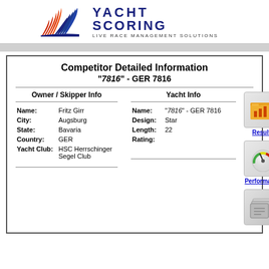YachtScoring - Live Race Management Solutions
Competitor Detailed Information
"7816" - GER 7816
| Field | Owner/Skipper Info | Yacht Info |
| --- | --- | --- |
| Name: | Fritz Girr | "7816" - GER 7816 |
| City: | Augsburg |  |
| State: | Bavaria |  |
| Country: | GER |  |
| Yacht Club: | HSC Herrschinger Segel Club |  |
| Design: |  | Star |
| Length: |  | 22 |
| Rating: |  |  |
[Figure (logo): Results icon]
Results
[Figure (other): Performance speedometer icon]
Performance
[Figure (other): Third icon box gray]